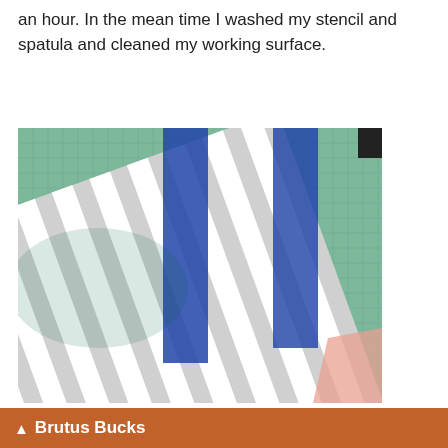an hour. In the mean time I washed my stencil and spatula and cleaned my working surface.
[Figure (photo): Photo of a stencil with diagonal gray and white stripes, with two strips of blue painter's tape running vertically across it, placed on a green cutting mat with a grid pattern. Some pink material is visible in the bottom right corner.]
▲ Brutus Bucks